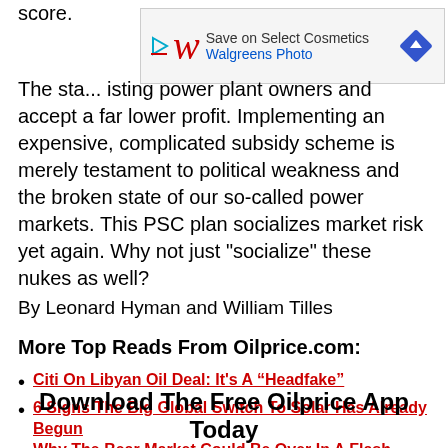[Figure (other): Walgreens Photo advertisement banner: Save on Select Cosmetics]
The sta... isting power plant owners and accept a far lower profit. Implementing an expensive, complicated subsidy scheme is merely testament to political weakness and the broken state of our so-called power markets. This PSC plan socializes market risk yet again. Why not just "socialize" these nukes as well?
By Leonard Hyman and William Tilles
More Top Reads From Oilprice.com:
Citi On Libyan Oil Deal: It's A “Headfake”
6 Signs The Big Global Switch To Solar Has Already Begun
Why The Bear Market Could Be Over In A Flash
Download The Free Oilprice App Today